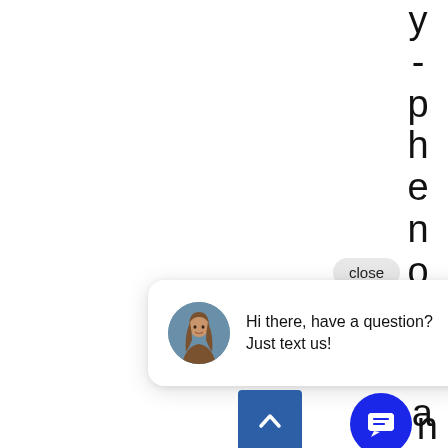y-phenol
[Figure (screenshot): Close button (pill-shaped, grey background) with text 'close']
[Figure (screenshot): Chat popup card with circular avatar photo of a woman and message text: 'Hi there, have a question? Just text us!']
a
[Figure (screenshot): Back-to-top button: dark blue square with white chevron/arrow pointing up]
[Figure (screenshot): Chat FAB button: blue circle with white chat/message icon]
n